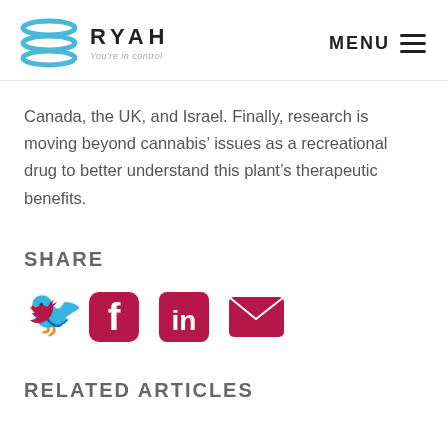RYAH You're in control | MENU
Canada, the UK, and Israel. Finally, research is moving beyond cannabis’ issues as a recreational drug to better understand this plant’s therapeutic benefits.
SHARE
[Figure (infographic): Social share icons: Twitter, Facebook, LinkedIn, Email in crimson/berry color]
RELATED ARTICLES